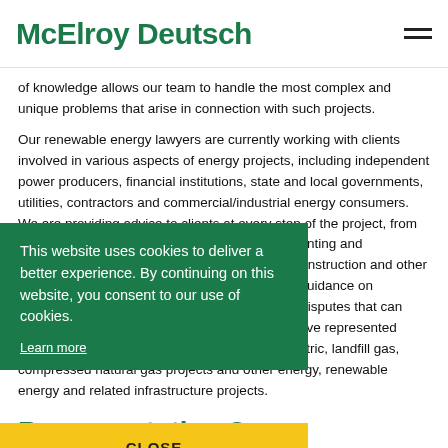McElroy Deutsch
of knowledge allows our team to handle the most complex and unique problems that arise in connection with such projects.
Our renewable energy lawyers are currently working with clients involved in various aspects of energy projects, including independent power producers, financial institutions, state and local governments, utilities, contractors and commercial/industrial energy consumers. We are providing advice to clients at every step of the project, from obtaining regulatory approvals, drafting, documenting and negotiating power-purchase, finance, leasing, construction and other agreements, intergovernmental arrangements, guidance on construction and operational issues, as well as disputes that can arise from such projects. Our Team members have represented clients on solar, biomass, wind power, hydroelectric, landfill gas, compressed natural gas projects and other energy, renewable energy and related infrastructure projects.
This website uses cookies to deliver a better experience. By continuing on this website, you consent to our use of cookies.
Learn more
CLOSE
Representative C...